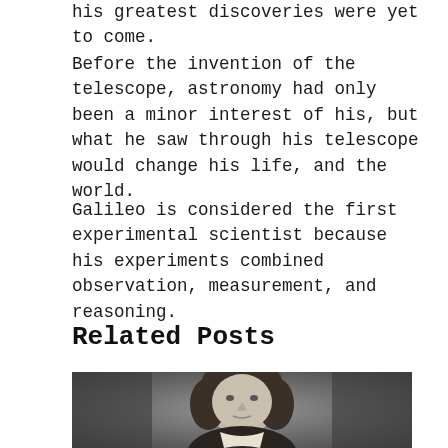his greatest discoveries were yet to come.
Before the invention of the telescope, astronomy had only been a minor interest of his, but what he saw through his telescope would change his life, and the world.
Galileo is considered the first experimental scientist because his experiments combined observation, measurement, and reasoning.
Related Posts
[Figure (photo): Black and white portrait of a historical figure (likely Copernicus) with curly hair, shown from shoulders up against a dark background.]